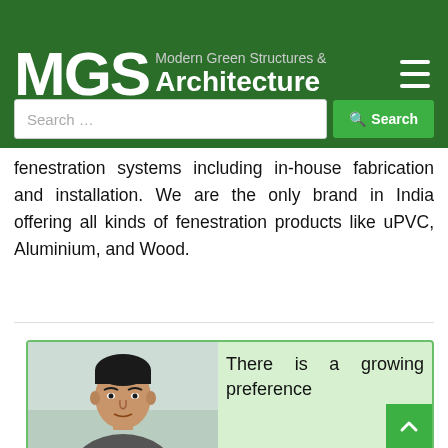MGS Modern Green Structures & Architecture
fenestration systems including in-house fabrication and installation. We are the only brand in India offering all kinds of fenestration products like uPVC, Aluminium, and Wood.
[Figure (photo): Portrait photo of a man, partially visible, inside a light green bordered card at the bottom of the page]
There is a growing preference